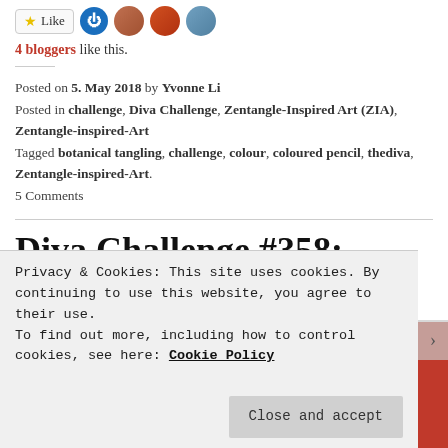4 bloggers like this.
Posted on 5. May 2018 by Yvonne Li
Posted in challenge, Diva Challenge, Zentangle-Inspired Art (ZIA), Zentangle-inspired-Art
Tagged botanical tangling, challenge, colour, coloured pencil, thediva, Zentangle-inspired-Art.
5 Comments
Diva Challenge #358: Picknocket again!
Privacy & Cookies: This site uses cookies. By continuing to use this website, you agree to their use.
To find out more, including how to control cookies, see here: Cookie Policy
Close and accept